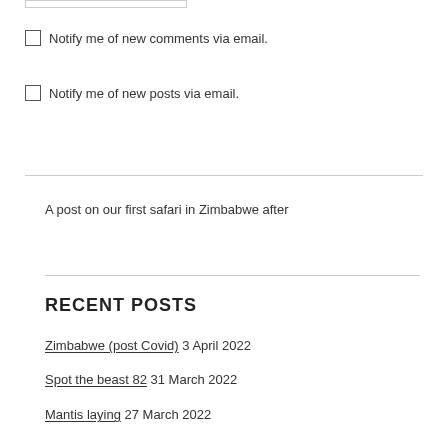Notify me of new comments via email.
Notify me of new posts via email.
A post on our first safari in Zimbabwe after
RECENT POSTS
Zimbabwe (post Covid) 3 April 2022
Spot the beast 82 31 March 2022
Mantis laying 27 March 2022